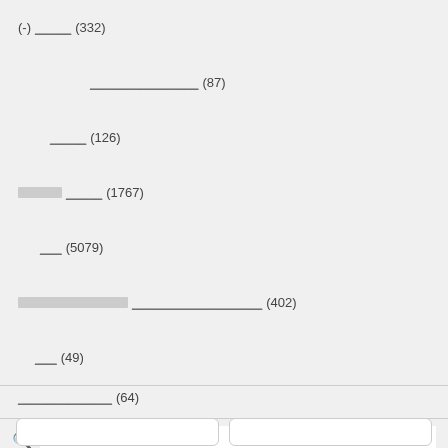(-) ___ (332)
_______________ (87)
_____ (126)
[redacted] _____ (1767)
___ (5079)
[redacted] __________________ (402)
___ (49)
_____________ (64)
[search bar with icon]
[redacted label]
[two buttons]